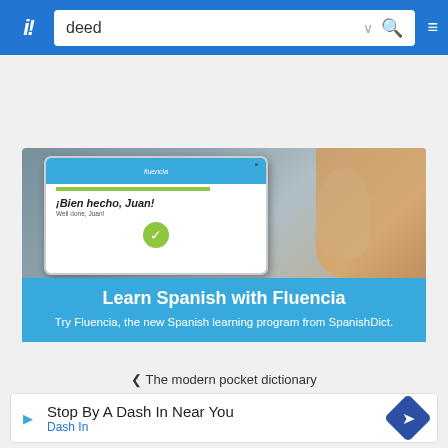deed
[Figure (illustration): Fluencia Spanish learning app advertisement showing a tablet with '¡Bien hecho, Juan!' success screen, with text 'Learn Spanish with Fluencia' and 'Try Fluencia, the new Spanish learning program from SpanishDict.']
❮ The modern pocket dictionary
[Figure (infographic): Ad banner: 'Stop By A Dash In Near You' with Dash In logo and blue diamond arrow icon]